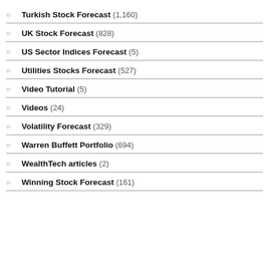Turkish Stock Forecast (1,160)
UK Stock Forecast (828)
US Sector Indices Forecast (5)
Utilities Stocks Forecast (527)
Video Tutorial (5)
Videos (24)
Volatility Forecast (329)
Warren Buffett Portfolio (694)
WealthTech articles (2)
Winning Stock Forecast (161)